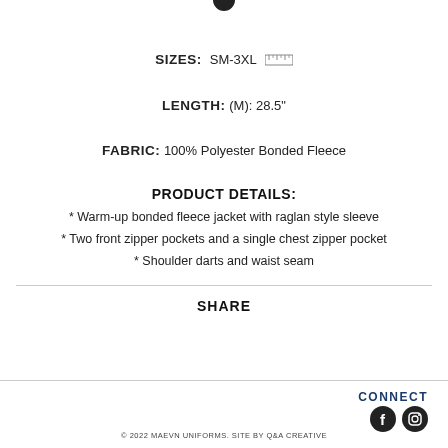SIZES: SM-3XL
LENGTH: (M): 28.5"
FABRIC: 100% Polyester Bonded Fleece
PRODUCT DETAILS:
* Warm-up bonded fleece jacket with raglan style sleeve
* Two front zipper pockets and a single chest zipper pocket
* Shoulder darts and waist seam
SHARE
CONNECT
© 2022 MAEVN UNIFORMS. SITE BY Q&A CREATIVE